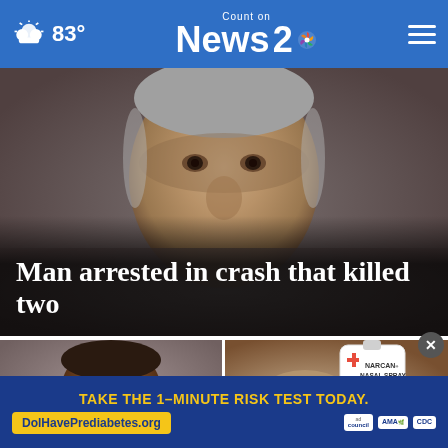83° Count on News 2 NBC
[Figure (photo): Close-up face of a middle-aged white man with gray hair, serious expression]
Man arrested in crash that killed two
[Figure (photo): Mugshot of a Black man against a gray background]
Po... Cha...
[Figure (photo): Close-up of a hand holding a white NARCAN Nasal Spray bottle]
Curbside
TAKE THE 1-MINUTE RISK TEST TODAY. DolHavePrediabetes.org
[Figure (logo): Ad Council logo, AMA logo, CDC logo]